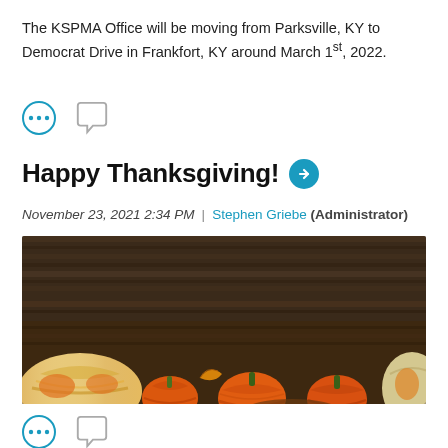The KSPMA Office will be moving from Parksville, KY to Democrat Drive in Frankfort, KY around March 1st, 2022.
[Figure (other): Three-dot menu icon and speech bubble comment icon]
Happy Thanksgiving!
November 23, 2021 2:34 PM | Stephen Griebe (Administrator)
[Figure (photo): Thanksgiving themed photo showing orange pumpkins and gourds with autumn leaves arranged on a dark wood background]
[Figure (other): Three-dot menu icon and speech bubble comment icon]